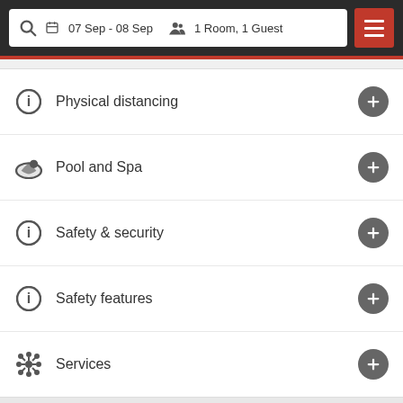07 Sep - 08 Sep  1 Room, 1 Guest
Physical distancing
Pool and Spa
Safety & security
Safety features
Services
Policies
Search Rooms